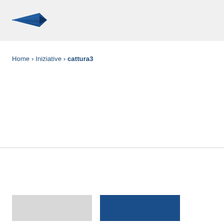[Figure (logo): Blue arrow/paper plane logo in header bar]
Home › Iniziative › cattura3
[Figure (other): Two rectangular buttons at bottom: light gray and dark navy blue]